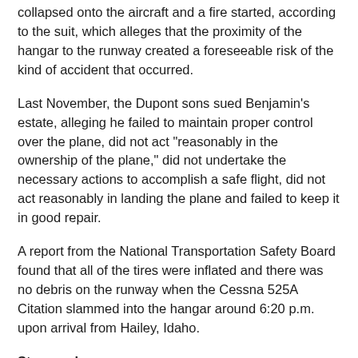collapsed onto the aircraft and a fire started, according to the suit, which alleges that the proximity of the hangar to the runway created a foreseeable risk of the kind of accident that occurred.
Last November, the Dupont sons sued Benjamin's estate, alleging he failed to maintain proper control over the plane, did not act "reasonably in the ownership of the plane," did not undertake the necessary actions to accomplish a safe flight, did not act reasonably in landing the plane and failed to keep it in good repair.
A report from the National Transportation Safety Board found that all of the tires were inflated and there was no debris on the runway when the Cessna 525A Citation slammed into the hangar around 6:20 p.m. upon arrival from Hailey, Idaho.
Story and Comments/Reaction:  http://www.smmirror.com